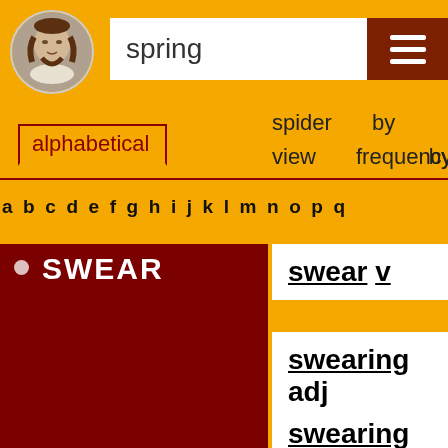[Figure (illustration): Shakespeare portrait in circular frame]
spring
[Figure (infographic): Menu icon (three horizontal lines) on dark red background]
alphabetical
spider view
by frequency
by
a b c d e f g h i j k l m n o p q
SWEAR
swear v
swearing adj
swearing n